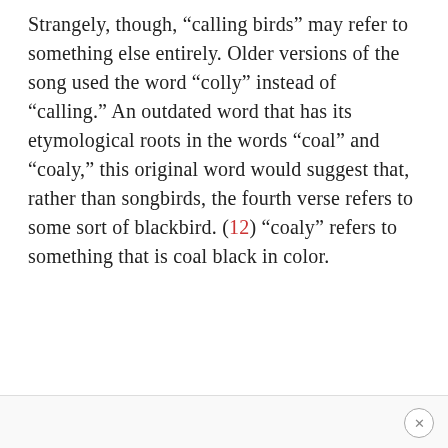Strangely, though, “calling birds” may refer to something else entirely. Older versions of the song used the word “colly” instead of “calling.” An outdated word that has its etymological roots in the words “coal” and “coaly,” this original word would suggest that, rather than songbirds, the fourth verse refers to some sort of blackbird. (12) “coaly” refers to something that is coal black in color.
×